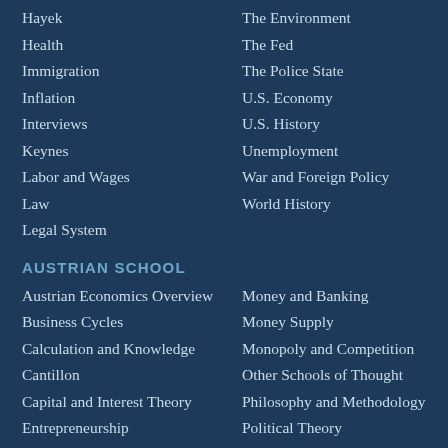Hayek
The Environment
Health
The Fed
Immigration
The Police State
Inflation
U.S. Economy
Interviews
U.S. History
Keynes
Unemployment
Labor and Wages
War and Foreign Policy
Law
World History
Legal System
AUSTRIAN SCHOOL
Austrian Economics Overview
Money and Banking
Business Cycles
Money Supply
Calculation and Knowledge
Monopoly and Competition
Cantillon
Other Schools of Thought
Capital and Interest Theory
Philosophy and Methodology
Entrepreneurship
Political Theory
Fiscal Theory
Praxeology